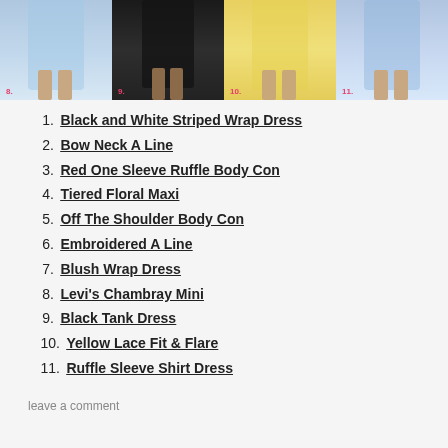[Figure (photo): Four fashion photos of women in dresses, numbered 8 through 11. Photo 8: light blue chambray mini dress. Photo 9: black high-low tank dress. Photo 10: yellow lace fit and flare dress. Photo 11: blue striped ruffle sleeve shirt dress.]
1. Black and White Striped Wrap Dress
2. Bow Neck A Line
3. Red One Sleeve Ruffle Body Con
4. Tiered Floral Maxi
5. Off The Shoulder Body Con
6. Embroidered A Line
7. Blush Wrap Dress
8. Levi's Chambray Mini
9. Black Tank Dress
10. Yellow Lace Fit & Flare
11. Ruffle Sleeve Shirt Dress
leave a comment